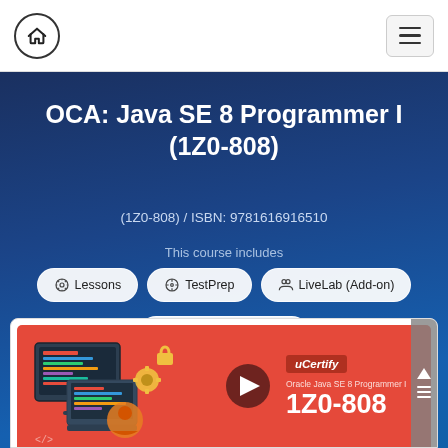Home | Menu navigation
OCA: Java SE 8 Programmer I (1Z0-808)
(1Z0-808) / ISBN: 9781616916510
This course includes
Lessons
TestPrep
LiveLab (Add-on)
Mentoring (Add-on)
[Figure (screenshot): Video thumbnail showing uCertify course for Oracle Java SE 8 Programmer I 1Z0-808 with device illustrations and play button on a red background]